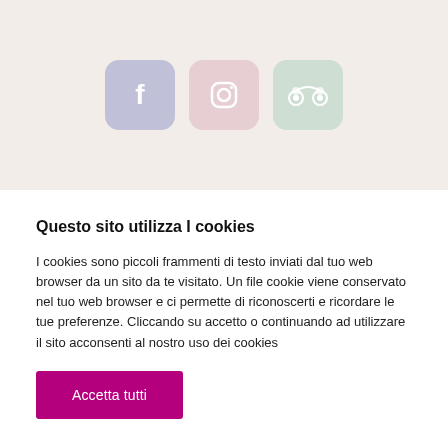[Figure (illustration): Social media icons: Facebook (blue-purple rounded square), Instagram (pink rounded square), TripAdvisor (green rounded square) displayed on a beige/cream background banner.]
Questo sito utilizza I cookies
I cookies sono piccoli frammenti di testo inviati dal tuo web browser da un sito da te visitato. Un file cookie viene conservato nel tuo web browser e ci permette di riconoscerti e ricordare le tue preferenze. Cliccando su accetto o continuando ad utilizzare il sito acconsenti al nostro uso dei cookies
Accetta tutti